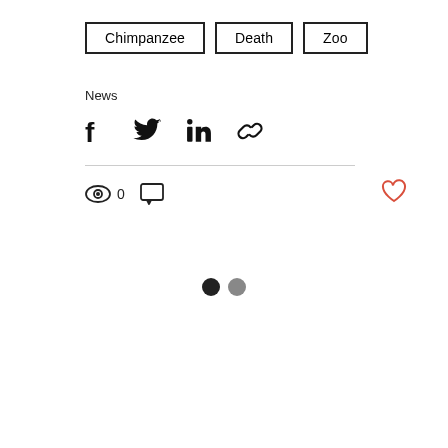Chimpanzee
Death
Zoo
News
[Figure (infographic): Social share icons: Facebook, Twitter, LinkedIn, Link]
[Figure (infographic): Interaction bar with eye/views icon showing 0, comment icon, and heart/like button in red outline]
[Figure (infographic): Two dots: one black, one gray — pagination or loading indicator]